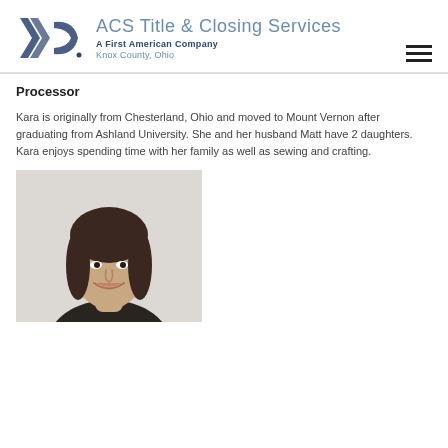ACS Title & Closing Services — A First American Company — Knox County, Ohio
Processor
Kara is originally from Chesterland, Ohio and moved to Mount Vernon after graduating from Ashland University. She and her husband Matt have 2 daughters. Kara enjoys spending time with her family as well as sewing and crafting.
[Figure (photo): Headshot photo of a young woman with long dark hair, smiling, against a light grey background]